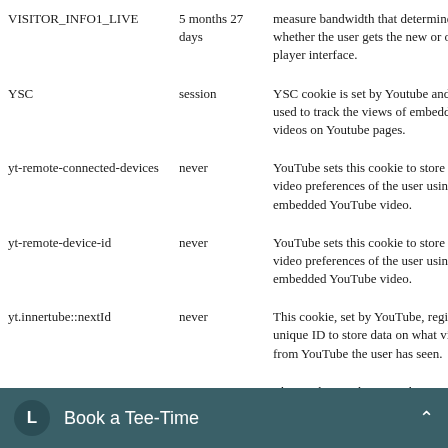| Cookie | Duration | Description |
| --- | --- | --- |
| VISITOR_INFO1_LIVE | 5 months 27 days | measure bandwidth that determines whether the user gets the new or old player interface. |
| YSC | session | YSC cookie is set by Youtube and is used to track the views of embedded videos on Youtube pages. |
| yt-remote-connected-devices | never | YouTube sets this cookie to store the video preferences of the user using embedded YouTube video. |
| yt-remote-device-id | never | YouTube sets this cookie to store the video preferences of the user using embedded YouTube video. |
| yt.innertube::nextId | never | This cookie, set by YouTube, registers a unique ID to store data on what videos from YouTube the user has seen. |
|  |  | This cookie, set by YouTube, |
Book a Tee-Time